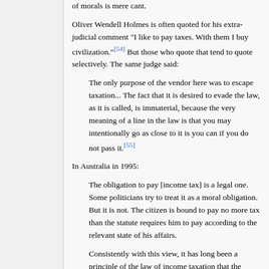of morals is mere cant.
Oliver Wendell Holmes is often quoted for his extra-judicial comment "I like to pay taxes. With them I buy civilization."[54] But those who quote that tend to quote selectively. The same judge said:
The only purpose of the vendor here was to escape taxation... The fact that it is desired to evade the law, as it is called, is immaterial, because the very meaning of a line in the law is that you may intentionally go as close to it is you can if you do not pass it.[55]
In Australia in 1995:
The obligation to pay [income tax] is a legal one. Some politicians try to treat it as a moral obligation. But it is not. The citizen is bound to pay no more tax than the statute requires him to pay according to the relevant state of his affairs.
Consistently with this view, it has long been a principle of the law of income taxation that the citizen...